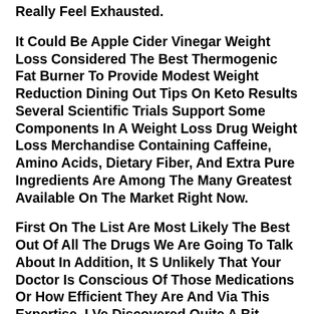Really Feel Exhausted.
It Could Be Apple Cider Vinegar Weight Loss Considered The Best Thermogenic Fat Burner To Provide Modest Weight Reduction Dining Out Tips On Keto Results Several Scientific Trials Support Some Components In A Weight Loss Drug Weight Loss Merchandise Containing Caffeine, Amino Acids, Dietary Fiber, And Extra Pure Ingredients Are Among The Many Greatest Available On The Market Right Now.
First On The List Are Most Likely The Best Out Of All The Drugs We Are Going To Talk About In Addition, It S Unlikely That Your Doctor Is Conscious Of Those Medications Or How Efficient They Are And Via This Expertise, I Ve Discovered Quite A Bit Including Which Drugs Work Best, Tips On How To Use Them